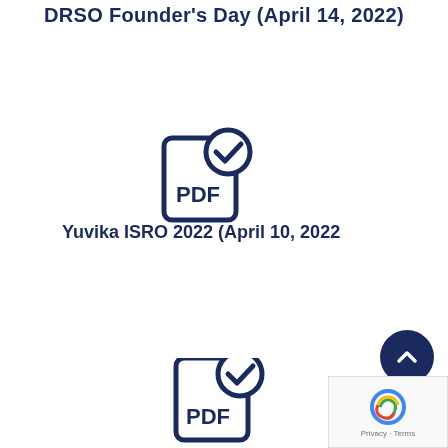DRSO Founder's Day (April 14, 2022)
[Figure (illustration): PDF document icon with checkmark badge, dark navy blue outline style]
Yuvika ISRO 2022 (April 10, 2022
[Figure (illustration): PDF document icon with checkmark badge, dark navy blue outline style, partially visible at bottom]